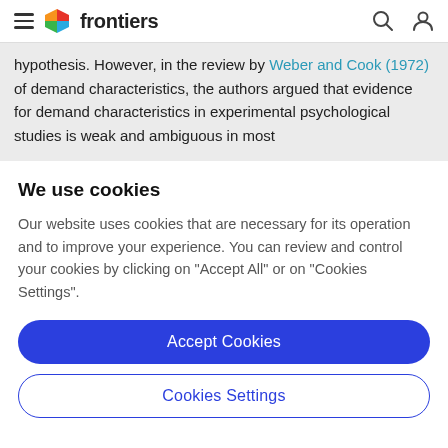frontiers
hypothesis. However, in the review by Weber and Cook (1972) of demand characteristics, the authors argued that evidence for demand characteristics in experimental psychological studies is weak and ambiguous in most
We use cookies
Our website uses cookies that are necessary for its operation and to improve your experience. You can review and control your cookies by clicking on "Accept All" or on "Cookies Settings".
Accept Cookies
Cookies Settings